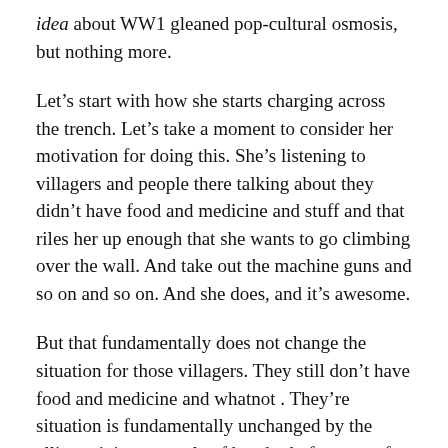idea about WW1 gleaned pop-cultural osmosis, but nothing more.
Let’s start with how she starts charging across the trench. Let’s take a moment to consider her motivation for doing this. She’s listening to villagers and people there talking about they didn’t have food and medicine and stuff and that riles her up enough that she wants to go climbing over the wall. And take out the machine guns and so on and so on. And she does, and it’s awesome.
But that fundamentally does not change the situation for those villagers. They still don’t have food and medicine and whatnot . They’re situation is fundamentally unchanged by the allies gaining a couple of hundred of meters of ground. But it’s actually fine for Diana Prince to not get that. She is a newbie to the world, she cares and she has